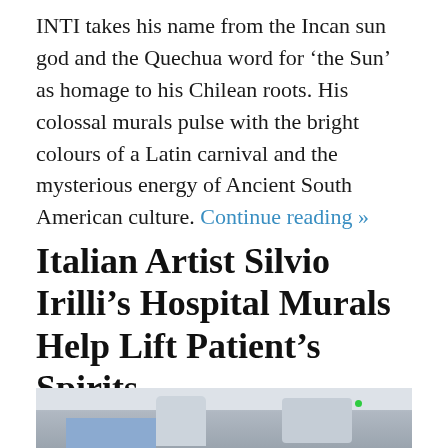INTI takes his name from the Incan sun god and the Quechua word for 'the Sun' as homage to his Chilean roots. His colossal murals pulse with the bright colours of a Latin carnival and the mysterious energy of Ancient South American culture. Continue reading »
Italian Artist Silvio Irilli's Hospital Murals Help Lift Patient's Spirits
[Figure (photo): Photograph of a hospital room interior showing medical ceiling-mounted equipment, a wall panel with a blue section, and what appears to be imaging machinery.]